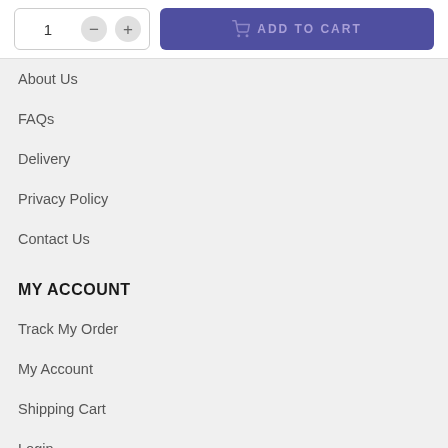[Figure (screenshot): Quantity selector with minus and plus buttons, and an Add to Cart button in dark purple/indigo color]
About Us
FAQs
Delivery
Privacy Policy
Contact Us
MY ACCOUNT
Track My Order
My Account
Shipping Cart
Login
CUSTOMER SERVICE